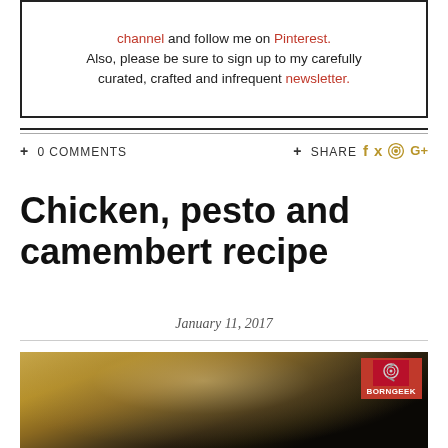channel and follow me on Pinterest. Also, please be sure to sign up to my carefully curated, crafted and infrequent newsletter.
+ 0 COMMENTS    + SHARE
Chicken, pesto and camembert recipe
January 11, 2017
[Figure (photo): Close-up photo of chicken, pesto and camembert dish — melted golden cheese over dark pesto and chicken, with BORNGEEK watermark badge in top right corner]